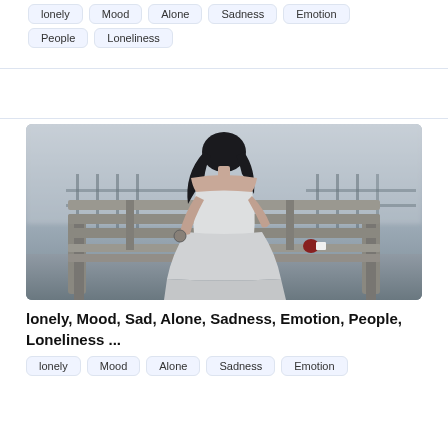lonely
Mood
Alone
Sadness
Emotion
People
Loneliness
[Figure (photo): A woman in a white off-shoulder dress sitting alone on a weathered wooden park bench in a foggy, grey atmospheric setting, holding what appears to be a pocket watch, with a small red object beside her on the bench.]
lonely, Mood, Sad, Alone, Sadness, Emotion, People, Loneliness ...
lonely
Mood
Alone
Sadness
Emotion